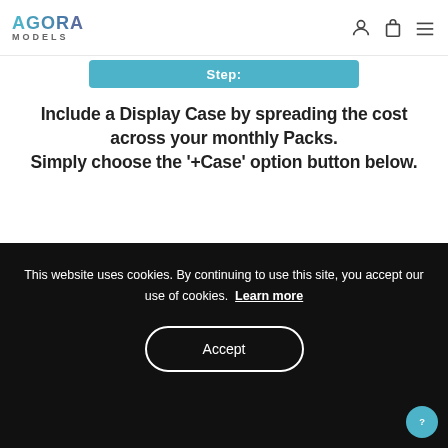AGORA MODELS
Step:
Include a Display Case by spreading the cost across your monthly Packs. Simply choose the '+Case' option button below.
[Figure (photo): Partial view of a photo showing a hand writing, with teal-to-purple gradient overlay.]
This website uses cookies. By continuing to use this site, you accept our use of cookies. Learn more
Accept